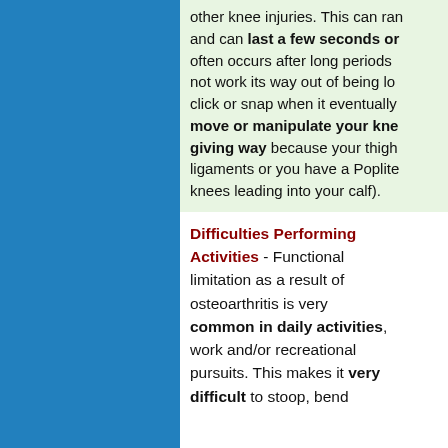other knee injuries. This can range and can last a few seconds or often occurs after long periods not work its way out of being locked click or snap when it eventually move or manipulate your knee. giving way because your thigh ligaments or you have a Poplite knees leading into your calf).
Difficulties Performing Activities - Functional limitation as a result of osteoarthritis is very common in daily activities, work and/or recreational pursuits. This makes it very difficult to stoop, bend...